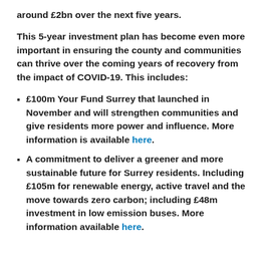around £2bn over the next five years.
This 5-year investment plan has become even more important in ensuring the county and communities can thrive over the coming years of recovery from the impact of COVID-19. This includes:
£100m Your Fund Surrey that launched in November and will strengthen communities and give residents more power and influence. More information is available here.
A commitment to deliver a greener and more sustainable future for Surrey residents. Including £105m for renewable energy, active travel and the move towards zero carbon; including £48m investment in low emission buses. More information available here.